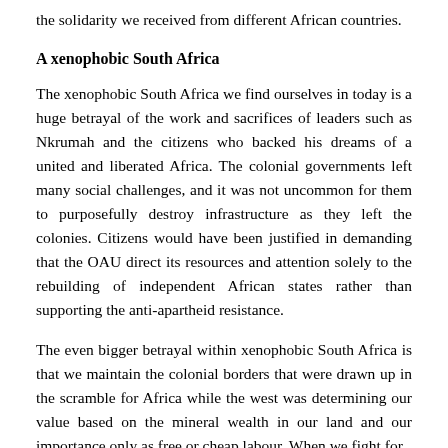the solidarity we received from different African countries.
A xenophobic South Africa
The xenophobic South Africa we find ourselves in today is a huge betrayal of the work and sacrifices of leaders such as Nkrumah and the citizens who backed his dreams of a united and liberated Africa. The colonial governments left many social challenges, and it was not uncommon for them to purposefully destroy infrastructure as they left the colonies. Citizens would have been justified in demanding that the OAU direct its resources and attention solely to the rebuilding of independent African states rather than supporting the anti-apartheid resistance.
The even bigger betrayal within xenophobic South Africa is that we maintain the colonial borders that were drawn up in the scramble for Africa while the west was determining our value based on the mineral wealth in our land and our importance only as free or cheap labour. When we fight for